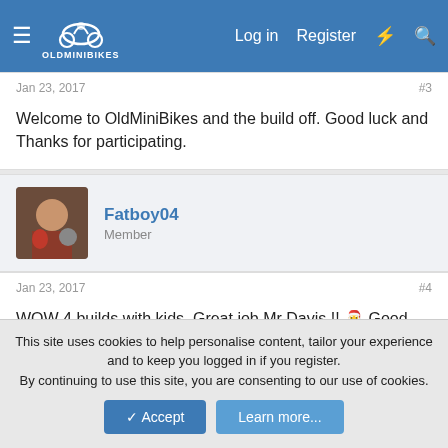OldMiniBikes — Log in  Register
Jan 23, 2017  #3
Welcome to OldMiniBikes and the build off. Good luck and Thanks for participating.
Fatboy04  Member
Jan 23, 2017  #4
WOW 4 builds with kids, Great job Mr Davis !! 🎅 Good luck students.
buckeye
This site uses cookies to help personalise content, tailor your experience and to keep you logged in if you register.
By continuing to use this site, you are consenting to our use of cookies.